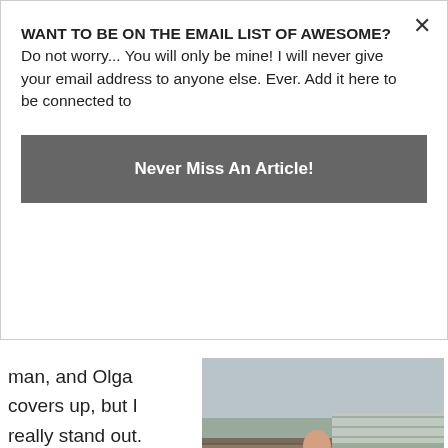WANT TO BE ON THE EMAIL LIST OF AWESOME? Do not worry... You will only be mine! I will never give your email address to anyone else. Ever. Add it here to be connected to
Never Miss An Article!
man, and Olga covers up, but I really stand out.
[Figure (photo): Person in red jacket riding a brown horse near a rustic wooden structure]
My noble mountain climbing steed.
There are absolutely no other tourists anywhere here that we have seen.  Somehow we have beaten all of them to get to Kashmir first.  The locals say it will get busy in a month.  But, I am confused as to where